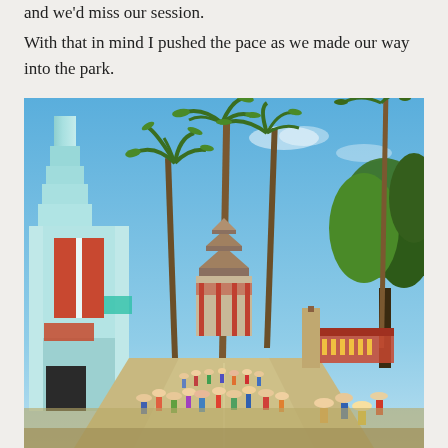and we'd miss our session.
With that in mind I pushed the pace as we made our way into the park.
[Figure (photo): Outdoor photo of a theme park entrance boulevard (Disney's Hollywood Studios), showing an Art Deco light blue tower building on the left, tall palm trees lining the walkway leading toward a pagoda-style Chinese Theater in the background, crowds of park visitors walking along the street, and green trees on the right side under a clear blue sky.]